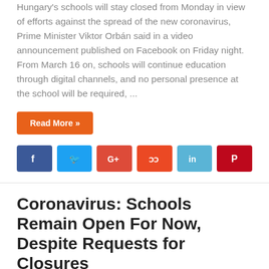Hungary's schools will stay closed from Monday in view of efforts against the spread of the new coronavirus, Prime Minister Viktor Orbán said in a video announcement published on Facebook on Friday night. From March 16 on, schools will continue education through digital channels, and no personal presence at the school will be required, ...
Read More »
[Figure (infographic): Social media sharing buttons: Facebook (blue), Twitter (light blue), Google+ (red), StumbleUpon (orange-red), LinkedIn (light blue), Pinterest (red)]
Coronavirus: Schools Remain Open For Now, Despite Requests for Closures
March 13, 2020   HEALTH, News
[Figure (photo): School hallway with students in white uniforms gathered in a corridor with yellow and blue walls]